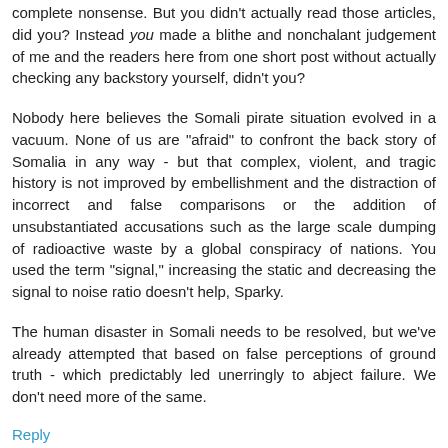complete nonsense. But you didn't actually read those articles, did you? Instead you made a blithe and nonchalant judgement of me and the readers here from one short post without actually checking any backstory yourself, didn't you?
Nobody here believes the Somali pirate situation evolved in a vacuum. None of us are "afraid" to confront the back story of Somalia in any way - but that complex, violent, and tragic history is not improved by embellishment and the distraction of incorrect and false comparisons or the addition of unsubstantiated accusations such as the large scale dumping of radioactive waste by a global conspiracy of nations. You used the term "signal," increasing the static and decreasing the signal to noise ratio doesn't help, Sparky.
The human disaster in Somali needs to be resolved, but we've already attempted that based on false perceptions of ground truth - which predictably led unerringly to abject failure. We don't need more of the same.
Reply